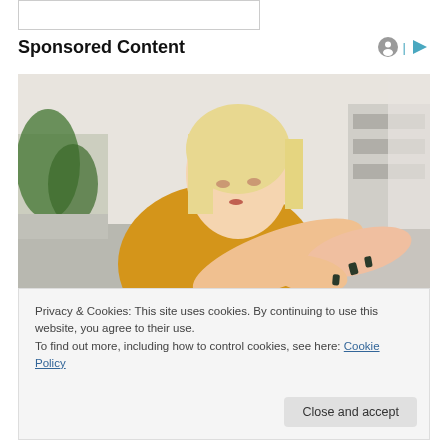[Figure (other): Placeholder input box at top of page]
Sponsored Content
[Figure (photo): Young blonde woman in yellow knit sweater looking at her elbow/arm with concern, sitting on a couch indoors]
Privacy & Cookies: This site uses cookies. By continuing to use this website, you agree to their use.
To find out more, including how to control cookies, see here: Cookie Policy
Close and accept